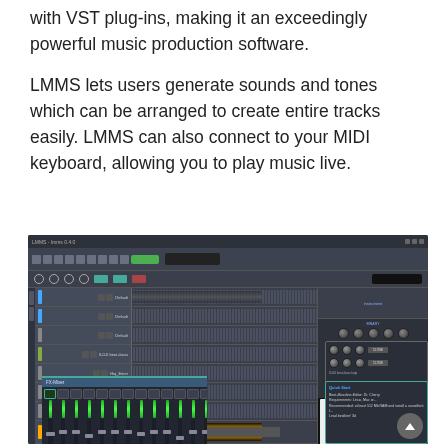with VST plug-ins, making it an exceedingly powerful music production software.
LMMS lets users generate sounds and tones which can be arranged to create entire tracks easily. LMMS can also connect to your MIDI keyboard, allowing you to play music live.
[Figure (screenshot): Screenshot of LMMS (Linux MultiMedia Studio) digital audio workstation software showing the Song Editor with multiple tracks, a mixer panel at the bottom, instrument/synth panel on the right, piano roll, and a popup dialog]